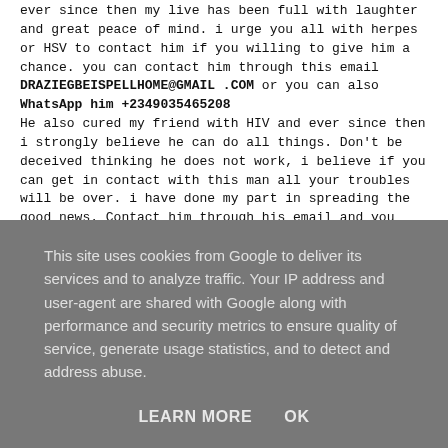ever since then my live has been full with laughter and great peace of mind. i urge you all with herpes or HSV to contact him if you willing to give him a chance. you can contact him through this email DRAZIEGBEISPELLHOME@GMAIL .COM or you can also WhatsApp him +2349035465208 He also cured my friend with HIV and ever since then i strongly believe he can do all things. Don't be deceived thinking he does not work, i believe if you can get in contact with this man all your troubles will be over. i have done my part in spreading the good news. Contact him through his email and you will be the next to testify of his great work.
This site uses cookies from Google to deliver its services and to analyze traffic. Your IP address and user-agent are shared with Google along with performance and security metrics to ensure quality of service, generate usage statistics, and to detect and address abuse.
LEARN MORE    OK